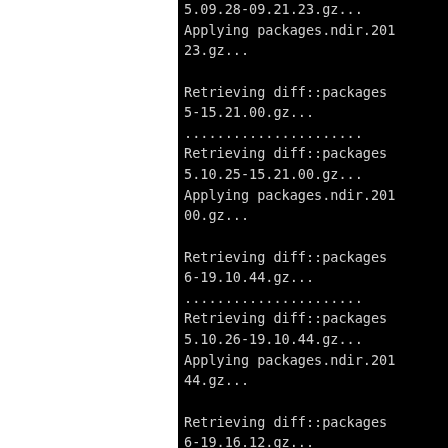[Figure (screenshot): Terminal/console output on black background showing package retrieval and apply operations with filenames ending in .gz]
5.09.28-09.21.23.gz...
Applying packages.ndir.201
23.gz...

Retrieving diff::packages
5-15.21.00.gz...
......................
Retrieving diff::packages
5.10.25-15.21.00.gz...
Applying packages.ndir.201
00.gz...

Retrieving diff::packages
6-19.10.44.gz...
......................
Retrieving diff::packages
5.10.26-19.10.44.gz...
Applying packages.ndir.201
44.gz...

Retrieving diff::packages
6-19.16.12.gz...
Retrieving diff::packages
5.10.26-19.16.12.gz